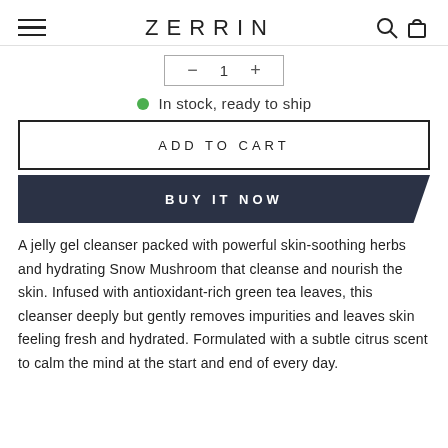ZERRIN
[Figure (other): Quantity selector with minus, 1, plus buttons in a bordered box]
In stock, ready to ship
ADD TO CART
BUY IT NOW
A jelly gel cleanser packed with powerful skin-soothing herbs and hydrating Snow Mushroom that cleanse and nourish the skin. Infused with antioxidant-rich green tea leaves, this cleanser deeply but gently removes impurities and leaves skin feeling fresh and hydrated. Formulated with a subtle citrus scent to calm the mind at the start and end of every day.